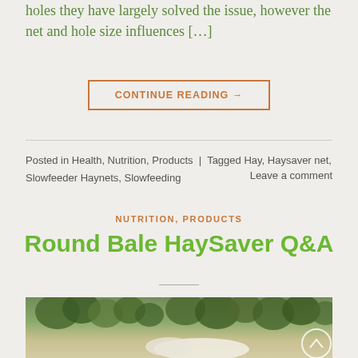holes they have largely solved the issue, however the net and hole size influences […]
CONTINUE READING →
Posted in Health, Nutrition, Products | Tagged Hay, Haysaver net, Slowfeeder Haynets, Slowfeeding    Leave a comment
NUTRITION, PRODUCTS
Round Bale HaySaver Q&A
[Figure (photo): Outdoor photo showing horses or hay bales in a field with trees in the background]